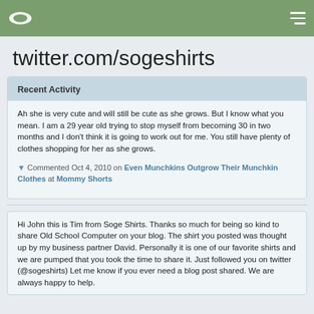twitter.com/sogeshirts — navigation bar with logo and hamburger menu
twitter.com/sogeshirts
Recent Activity
Ah she is very cute and will still be cute as she grows. But I know what you mean. I am a 29 year old trying to stop myself from becoming 30 in two months and I don't think it is going to work out for me. You still have plenty of clothes shopping for her as she grows.
▼ Commented Oct 4, 2010 on Even Munchkins Outgrow Their Munchkin Clothes at Mommy Shorts
Hi John this is Tim from Soge Shirts. Thanks so much for being so kind to share Old School Computer on your blog. The shirt you posted was thought up by my business partner David. Personally it is one of our favorite shirts and we are pumped that you took the time to share it. Just followed you on twitter (@sogeshirts) Let me know if you ever need a blog post shared. We are always happy to help.